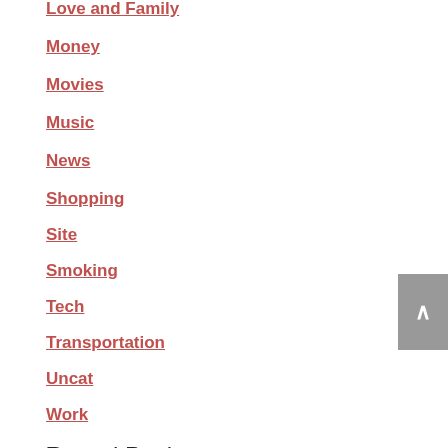Love and Family
Money
Movies
Music
News
Shopping
Site
Smoking
Tech
Transportation
Uncat
Work
Recent Post
6 Tips To Help You Secure Your Family's Financial Future